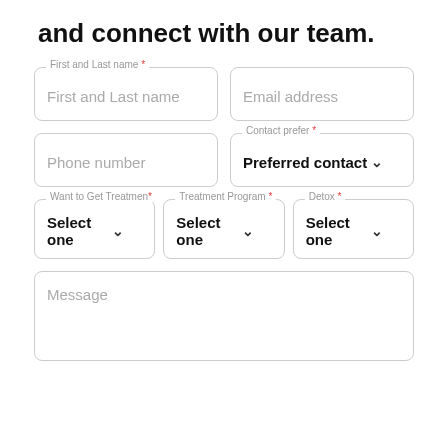and connect with our team.
First and Last name * (field label), Email address (field label), Phone number (field label), Contact prefer * (field label), Want to Get Treatment * (field label), Treatment Program * (field label), Detox * (field label), Message (field label)